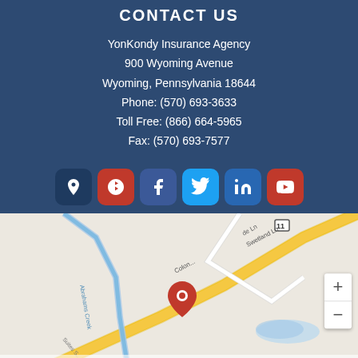CONTACT US
YonKondy Insurance Agency
900 Wyoming Avenue
Wyoming, Pennsylvania 18644
Phone: (570) 693-3633
Toll Free: (866) 664-5965
Fax: (570) 693-7577
[Figure (other): Social media icon buttons: Google Maps, Yelp, Facebook, Twitter, LinkedIn, YouTube]
[Figure (map): Google Map showing location of YonKondy Insurance Agency at 900 Wyoming Avenue, Wyoming, Pennsylvania 18644, with a red location pin, streets including Swetland Ln and Abrahams Creek, and zoom controls. Map data ©2022.]